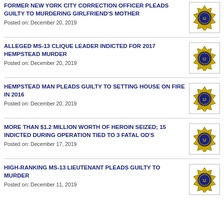FORMER NEW YORK CITY CORRECTION OFFICER PLEADS GUILTY TO MURDERING GIRLFRIEND'S MOTHER
Posted on: December 20, 2019
ALLEGED MS-13 CLIQUE LEADER INDICTED FOR 2017 HEMPSTEAD MURDER
Posted on: December 20, 2019
HEMPSTEAD MAN PLEADS GUILTY TO SETTING HOUSE ON FIRE IN 2016
Posted on: December 20, 2019
MORE THAN $1.2 MILLION WORTH OF HEROIN SEIZED; 15 INDICTED DURING OPERATION TIED TO 3 FATAL OD'S
Posted on: December 17, 2019
HIGH-RANKING MS-13 LIEUTENANT PLEADS GUILTY TO MURDER
Posted on: December 11, 2019